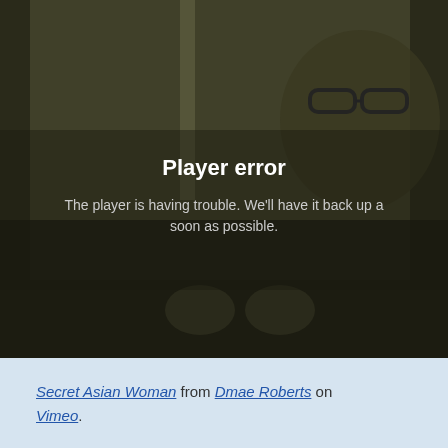[Figure (screenshot): Video player showing a dark sepia-toned still image of a person wearing glasses, with a 'Player error' message overlay. The background shows a blurred scene. The error message reads: 'Player error' and 'The player is having trouble. We'll have it back up as soon as possible.']
Secret Asian Woman from Dmae Roberts on Vimeo.